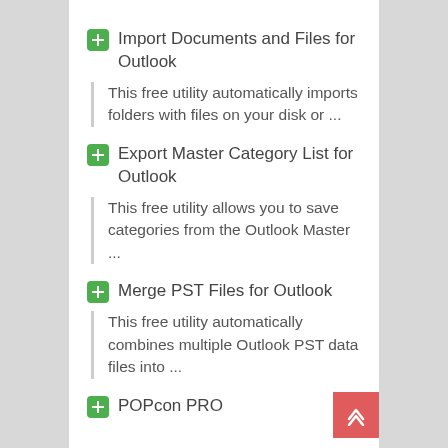Import Documents and Files for Outlook
This free utility automatically imports folders with files on your disk or ...
Export Master Category List for Outlook
This free utility allows you to save categories from the Outlook Master ...
Merge PST Files for Outlook
This free utility automatically combines multiple Outlook PST data files into ...
POPcon PRO